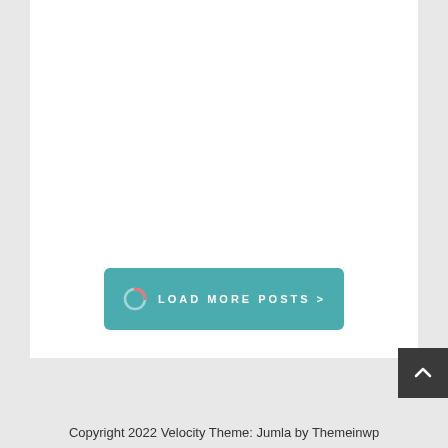[Figure (screenshot): White content area with a teal 'Load More Posts' button with a loading spinner icon]
[Figure (other): Dark gray back-to-top arrow button in the bottom right corner]
Copyright 2022 Velocity Theme: Jumla by Themeinwp